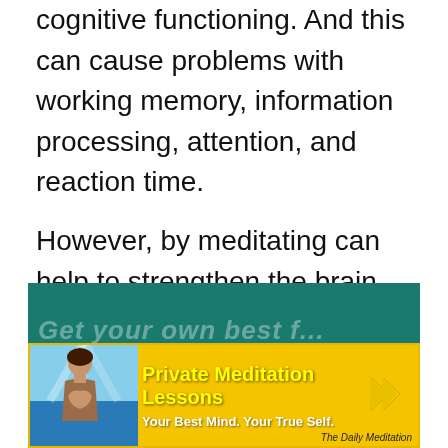cognitive functioning. And this can cause problems with working memory, information processing, attention, and reaction time.
However, by meditating can help to strengthen the brain, improve sleep, and boost cognitive functioning. And indeed, we can use meditation for brain fog.
[Figure (infographic): Advertisement banner for Private Meditation Lessons. Features a teal header bar with partially visible italic text, a yellow background strip with a meditating woman figure on the left, bold yellow text reading 'Private Meditation Lessons', white subtitle 'Your Best Mind. Your True Self.', double yellow chevron arrows on the right, and 'The Daily Meditation' branding at the bottom right.]